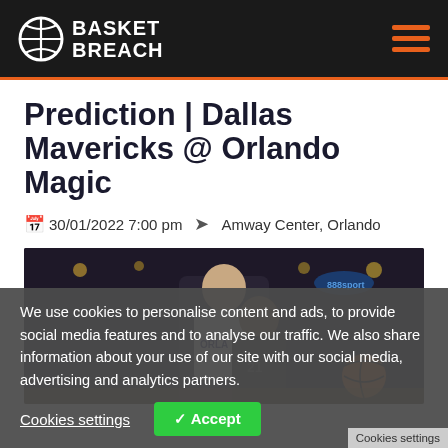BASKET BREACH
Prediction | Dallas Mavericks @ Orlando Magic
30/01/2022 7:00 pm   Amway Center, Orlando
[Figure (photo): Basketball players on court, one in an Orlando Magic jersey]
We use cookies to personalise content and ads, to provide social media features and to analyse our traffic. We also share information about your use of our site with our social media, advertising and analytics partners.
Cookies settings   ✓ Accept
Cookies settings